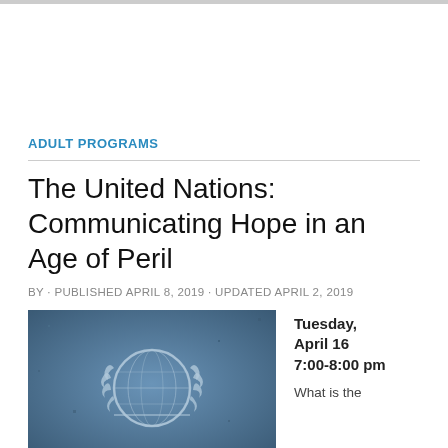ADULT PROGRAMS
The United Nations: Communicating Hope in an Age of Peril
BY · PUBLISHED APRIL 8, 2019 · UPDATED APRIL 2, 2019
[Figure (photo): Blue textured background with the United Nations emblem (world map within laurel wreath) in white/grey tones]
Tuesday, April 16
7:00-8:00 pm

What is the